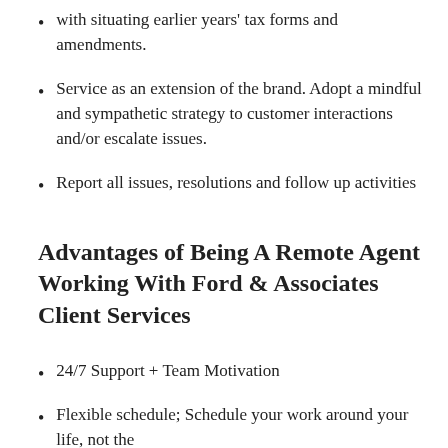with situating earlier years' tax forms and amendments.
Service as an extension of the brand. Adopt a mindful and sympathetic strategy to customer interactions and/or escalate issues.
Report all issues, resolutions and follow up activities
Advantages of Being A Remote Agent Working With Ford & Associates Client Services
24/7 Support + Team Motivation
Flexible schedule; Schedule your work around your life, not the